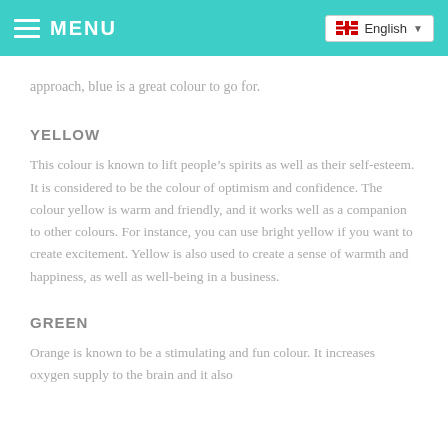MENU | English
approach, blue is a great colour to go for.
YELLOW
This colour is known to lift people’s spirits as well as their self-esteem. It is considered to be the colour of optimism and confidence. The colour yellow is warm and friendly, and it works well as a companion to other colours. For instance, you can use bright yellow if you want to create excitement. Yellow is also used to create a sense of warmth and happiness, as well as well-being in a business.
GREEN
Orange is known to be a stimulating and fun colour. It increases oxygen supply to the brain and it also